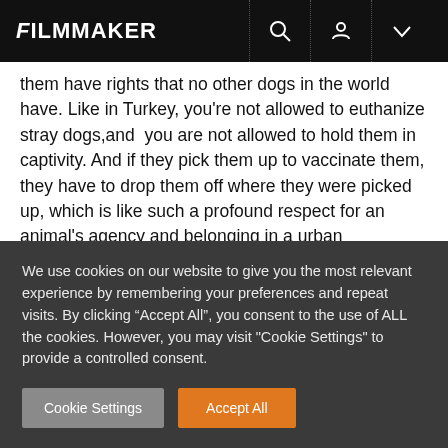FILMMAKER
them have rights that no other dogs in the world have. Like in Turkey, you're not allowed to euthanize stray dogs,and  you are not allowed to hold them in captivity. And if they pick them up to vaccinate them, they have to drop them off where they were picked up, which is like such a profound respect for an animal’s agency and belonging in a urban environment.
Filmmaker: So it’s more of a proactive stance for keeping
We use cookies on our website to give you the most relevant experience by remembering your preferences and repeat visits. By clicking “Accept All”, you consent to the use of ALL the cookies. However, you may visit "Cookie Settings" to provide a controlled consent.